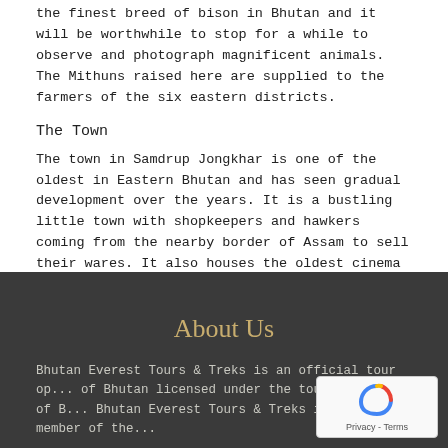the finest breed of bison in Bhutan and it will be worthwhile to stop for a while to observe and photograph magnificent animals. The Mithuns raised here are supplied to the farmers of the six eastern districts.
The Town
The town in Samdrup Jongkhar is one of the oldest in Eastern Bhutan and has seen gradual development over the years. It is a bustling little town with shopkeepers and hawkers coming from the nearby border of Assam to sell their wares. It also houses the oldest cinema theatre in the country that is popular among the Assamese from across the border for the Bollywood films it screens.
About Us
Bhutan Everest Tours & Treks is an official tour op... of Bhutan licensed under the tourism Council of B... Bhutan Everest Tours & Treks is also a member of the...